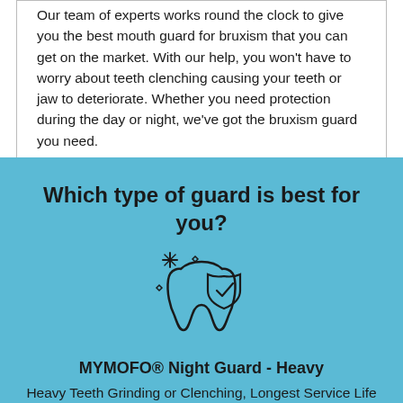Our team of experts works round the clock to give you the best mouth guard for bruxism that you can get on the market. With our help, you won't have to worry about teeth clenching causing your teeth or jaw to deteriorate. Whether you need protection during the day or night, we've got the bruxism guard you need.
Which type of guard is best for you?
[Figure (illustration): Line icon of a tooth with sparkle stars and a shield with a checkmark]
MYMOFOⓇ Night Guard - Heavy
Heavy Teeth Grinding or Clenching, Longest Service Life